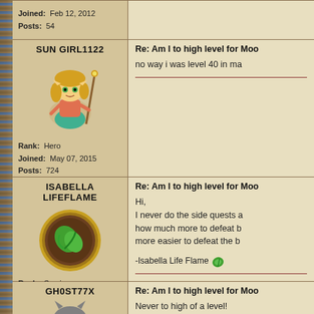Joined: Feb 12, 2012
Posts: 54
SUN GIRL1122
[Figure (illustration): Animated character avatar of a female elf/fairy holding a staff, with blonde hair, green eyes, wearing a teal outfit]
Rank: Hero
Joined: May 07, 2015
Posts: 724
Re: Am I to high level for Moo...
no way i was level 40 in ma
ISABELLA LIFEFLAME
[Figure (illustration): Circular brown badge/avatar with a green leaf swirl icon and gold border]
Rank: Survivor
Joined: May 14, 2014
Posts: 3
Re: Am I to high level for Moo...
Hi,
I never do the side quests... how much more to defeat b... more easier to defeat the b...
-Isabella Life Flame
GH0ST77X
Re: Am I to high level for Moo...
Never to high of a level!